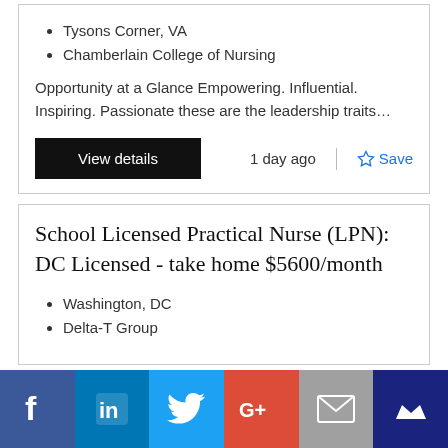Tysons Corner, VA
Chamberlain College of Nursing
Opportunity at a Glance Empowering. Influential. Inspiring. Passionate these are the leadership traits…
View details
1 day ago
Save
School Licensed Practical Nurse (LPN): DC Licensed - take home $5600/month
Washington, DC
Delta-T Group
[Figure (other): Social sharing bar with Facebook, LinkedIn, Twitter, Google+, Email, and Mightywise icons]